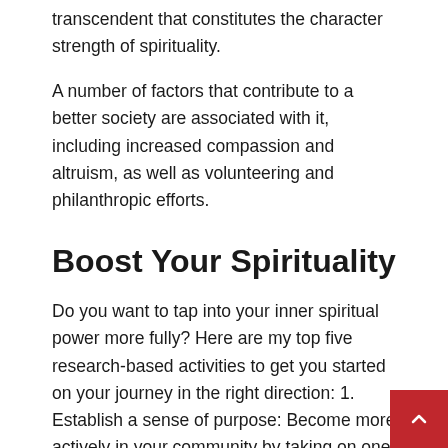transcendent that constitutes the character strength of spirituality.
A number of factors that contribute to a better society are associated with it, including increased compassion and altruism, as well as volunteering and philanthropic efforts.
Boost Your Spirituality
Do you want to tap into your inner spiritual power more fully? Here are my top five research-based activities to get you started on your journey in the right direction: 1. Establish a sense of purpose: Become more actively in your community by taking on one new volunteer role. 2. Take inspiration from spiritual leaders and the N...